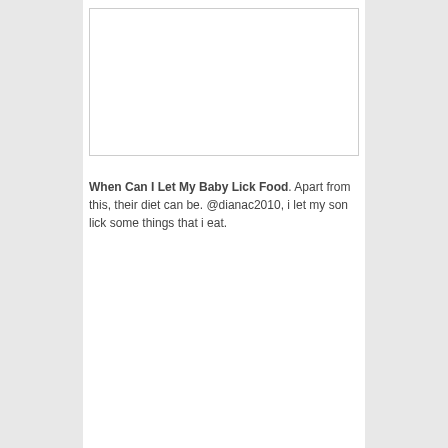[Figure (other): White rectangular image placeholder area with a thin border]
When Can I Let My Baby Lick Food. Apart from this, their diet can be. @dianac2010, i let my son lick some things that i eat.